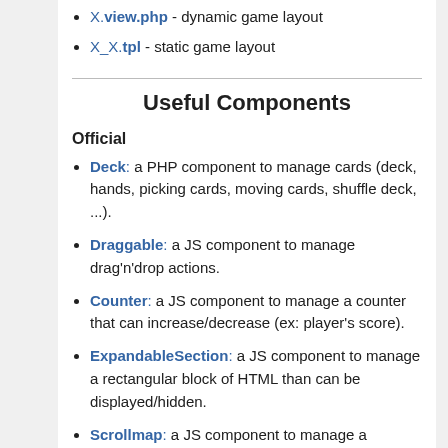X.view.php - dynamic game layout
X_X.tpl - static game layout
Useful Components
Official
Deck: a PHP component to manage cards (deck, hands, picking cards, moving cards, shuffle deck, ...).
Draggable: a JS component to manage drag'n'drop actions.
Counter: a JS component to manage a counter that can increase/decrease (ex: player's score).
ExpandableSection: a JS component to manage a rectangular block of HTML than can be displayed/hidden.
Scrollmap: a JS component to manage a